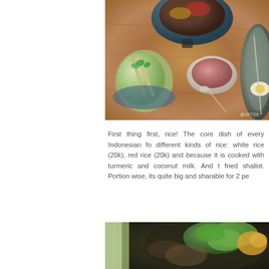[Figure (photo): Overhead view of Indonesian food spread on a wooden table: a blue bowl with food, a green drink with bamboo straws and mint, a small white bowl with pink/red salad, and a gray-green bowl with food and a half boiled egg, with spoons. Watermark @JKTDE visible.]
First thing first, rice! The core dish of every Indonesian fo... different kinds of rice: white rice (20k), red rice (20k) and because it is cooked with turmeric and coconut milk. And t fried shallot. Portion wise, its quite big and sharable for 2 pe...
[Figure (photo): Partial overhead view of a dark bowl with green leafy vegetables and what appears to be grilled food, alongside a green beverage glass.]